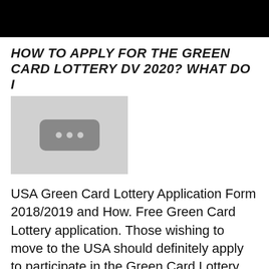HOW TO APPLY FOR THE GREEN CARD LOTTERY DV 2020? WHAT DO I
[Figure (other): Thumbnail placeholder image with a dark rounded rectangle containing three dots on a light gray background]
USA Green Card Lottery Application Form 2018/2019 and How. Free Green Card Lottery application. Those wishing to move to the USA should definitely apply to participate in the Green Card Lottery for free. Every person who was, When you make your application through US Green Card Office, we will guarantee that: a) you will not be disqualified due to errors and